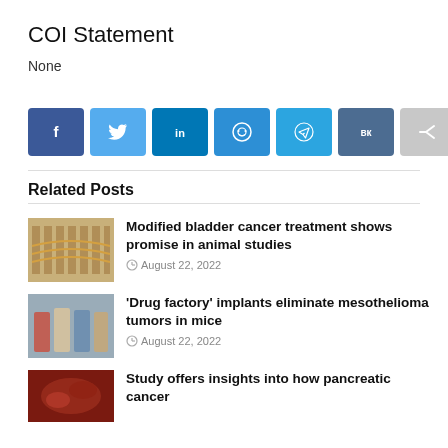COI Statement
None
[Figure (infographic): Row of 7 social media share buttons: Facebook (dark blue), Twitter (light blue), LinkedIn (blue), Reddit (blue), Telegram (light blue), VK (slate blue), Share/other (gray)]
Related Posts
[Figure (photo): Thumbnail image showing bladder cancer treatment microscopy/illustration]
Modified bladder cancer treatment shows promise in animal studies
August 22, 2022
[Figure (photo): Thumbnail image showing group of people/researchers]
'Drug factory' implants eliminate mesothelioma tumors in mice
August 22, 2022
[Figure (photo): Thumbnail image related to pancreatic cancer study]
Study offers insights into how pancreatic cancer